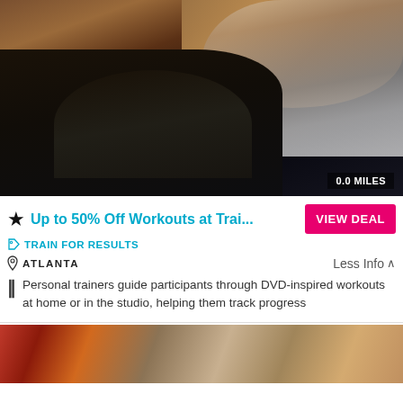[Figure (photo): Two men doing sit-up exercises, one in the foreground wearing a blue shirt looking up, one in the background. Warm brown tones. Distance badge shows 0.0 MILES in bottom right corner.]
Up to 50% Off Workouts at Trai...
TRAIN FOR RESULTS
ATLANTA
Less Info
Personal trainers guide participants through DVD-inspired workouts at home or in the studio, helping them track progress
[Figure (photo): Partial view of a second deal listing showing a decorative indoor scene with red flowers and warm tones.]